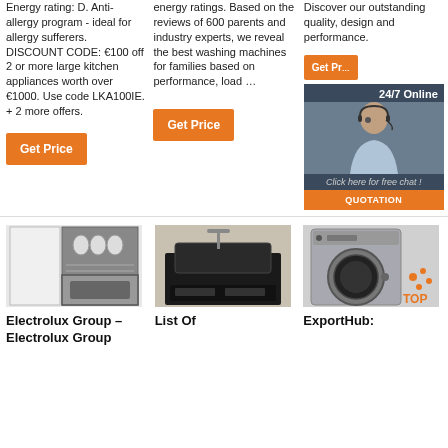Energy rating: D. Anti-allergy program - ideal for allergy sufferers. DISCOUNT CODE: €100 off 2 or more large kitchen appliances worth over €1000. Use code LKA100IE. + 2 more offers.
energy ratings. Based on the reviews of 600 parents and industry experts, we reveal the best washing machines for families based on performance, load …
Discover our outstanding quality, design and performance.
[Figure (infographic): 24/7 Online ad with woman headset agent, click here for free chat button, and QUOTATION orange button]
Get Price
Get Price
Get Price
[Figure (photo): Dishwasher open showing dishes inside]
[Figure (photo): Black kitchen appliance / sink unit]
[Figure (photo): Grey front-loading washing machine with TOP badge]
Electrolux Group – Electrolux Group
List Of
ExportHub: